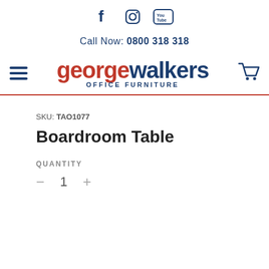[Figure (logo): Social media icons: Facebook (f), Instagram (camera), YouTube (play button)]
Call Now: 0800 318 318
[Figure (logo): George Walkers Office Furniture logo with hamburger menu and cart icon]
SKU: TAO1077
Boardroom Table
QUANTITY
- 1 +